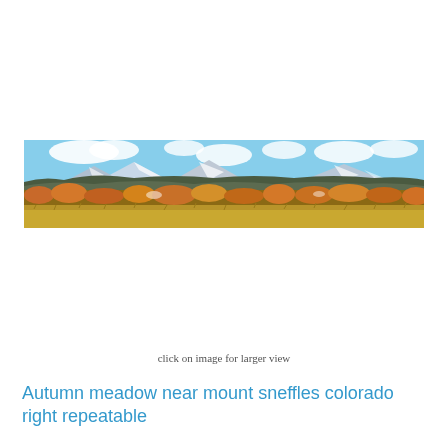[Figure (photo): Wide panoramic photograph of an autumn mountain meadow near Mount Sneffles, Colorado. The foreground shows golden dry grasses and scrubland with orange and rust-colored autumn foliage shrubs. Behind them are rolling hills with mixed green and orange trees. In the background are snow-capped mountain peaks under a partly cloudy blue sky.]
click on image for larger view
Autumn meadow near mount sneffles colorado right repeatable